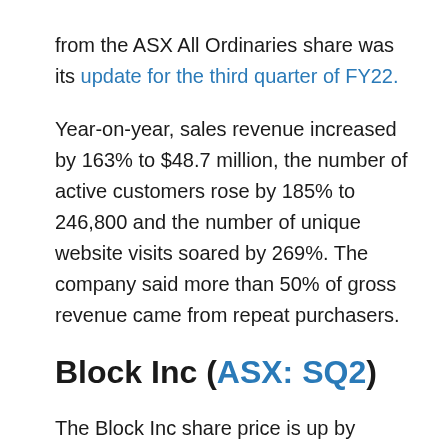from the ASX All Ordinaries share was its update for the third quarter of FY22.
Year-on-year, sales revenue increased by 163% to $48.7 million, the number of active customers rose by 185% to 246,800 and the number of unique website visits soared by 269%. The company said more than 50% of gross revenue came from repeat purchasers.
Block Inc (ASX: SQ2)
The Block Inc share price is up by 14.2% at the time of writing. However, Block shares are down